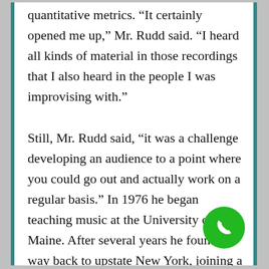quantitative metrics. “It certainly opened me up,” Mr. Rudd said. “I heard all kinds of material in those recordings that I also heard in the people I was improvising with.” Still, Mr. Rudd said, “it was a challenge developing an audience to a point where you could go out and actually work on a regular basis.” In 1976 he began teaching music at the University of Maine. After several years he found his way back to upstate New York, joining a show band at a Catskills resort. The jazz critic Francis Davis tracked him down there in the early ’90s ruefully pronouncing him “unforgettable but apparently forgotten.”